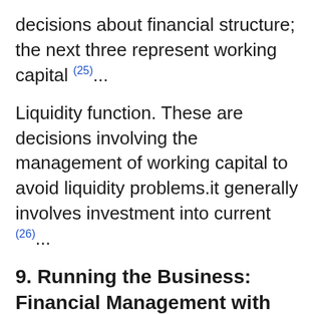decisions about financial structure; the next three represent working capital (25)...
Liquidity function. These are decisions involving the management of working capital to avoid liquidity problems.it generally involves investment into current (26)...
9. Running the Business: Financial Management with the SAS
Financial Management decisions can be both clear-cut and com- The process of